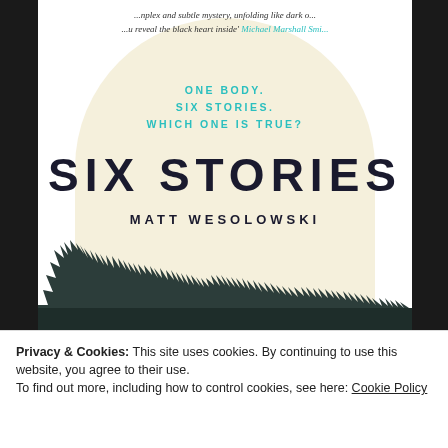...nplex and subtle mystery, unfolding like dark o... ...u reveal the black heart inside' Michael Marshall Smi...
[Figure (illustration): Book cover for 'Six Stories' by Matt Wesolowski. Shows a cream/beige arch shape with a forest of dark pine trees silhouetted at the bottom. Teal/cyan tagline 'ONE BODY. SIX STORIES. WHICH ONE IS TRUE?' above large bold dark navy title 'SIX STORIES' and author name 'MATT WESOLOWSKI'.]
Privacy & Cookies: This site uses cookies. By continuing to use this website, you agree to their use.
To find out more, including how to control cookies, see here: Cookie Policy
Close and accept